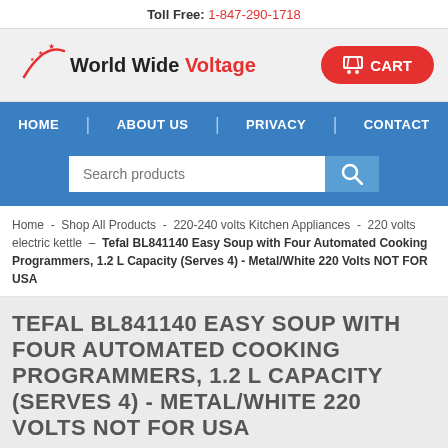Toll Free: 1-847-290-1718
[Figure (logo): World Wide Voltage logo with red arc and stars]
CART
HOME | ABOUT US | PRIVACY | CONTACT
Search products
Home - Shop All Products - 220-240 volts Kitchen Appliances - 220 volts electric kettle - Tefal BL841140 Easy Soup with Four Automated Cooking Programmers, 1.2 L Capacity (Serves 4) - Metal/White 220 Volts NOT FOR USA
TEFAL BL841140 EASY SOUP WITH FOUR AUTOMATED COOKING PROGRAMMERS, 1.2 L CAPACITY (SERVES 4) - METAL/WHITE 220 VOLTS NOT FOR USA
[Figure (photo): Product image of Tefal BL841140 Easy Soup blender, partially visible at bottom]